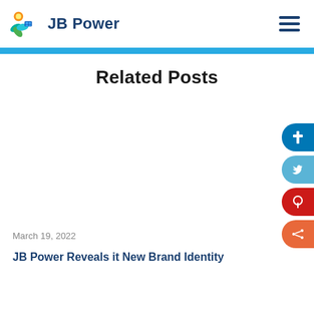JB Power
Related Posts
March 19, 2022
JB Power Reveals it New Brand Identity